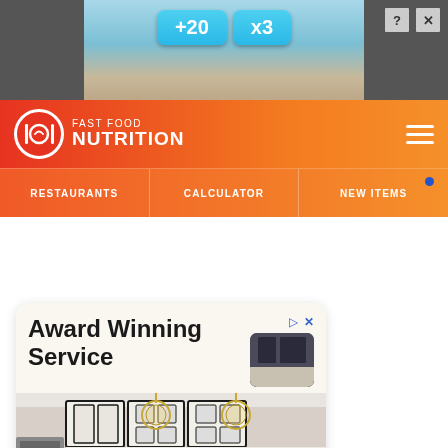[Figure (screenshot): Top advertisement banner with game-style buttons showing +20 and x3 on a blue/tan background, with close button]
FAST FOOD NUTRITION
RESTAURANTS | CALCULATOR | NEW ITEMS
[Figure (screenshot): Advertisement card for Award Winning Service showing a luxury kitchen with dark cabinets, pendant lights, and a Contact Us button]